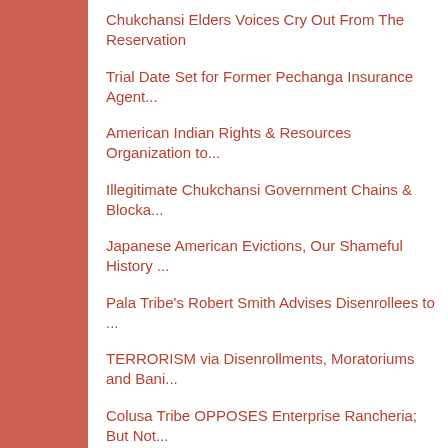Chukchansi Elders Voices Cry Out From The Reservation
Trial Date Set for Former Pechanga Insurance Agent...
American Indian Rights & Resources Organization to...
Illegitimate Chukchansi Government Chains & Blocka...
Japanese American Evictions, Our Shameful History ...
Pala Tribe's Robert Smith Advises Disenrollees to ...
TERRORISM via Disenrollments, Moratoriums and Bani...
Colusa Tribe OPPOSES Enterprise Rancheria; But Not...
Jamul Indians, Four Years after Beatings And Evict...